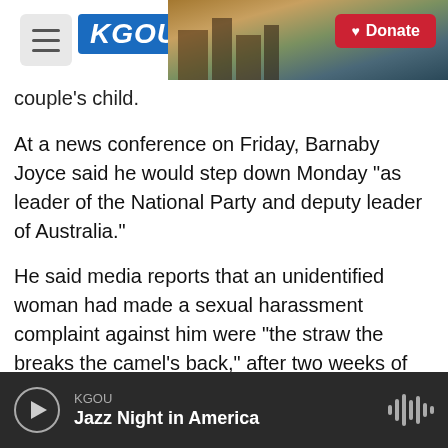KGOU | Donate
couple's child.
At a news conference on Friday, Barnaby Joyce said he would step down Monday "as leader of the National Party and deputy leader of Australia."
He said media reports that an unidentified woman had made a sexual harassment complaint against him were "the straw the breaks the camel's back," after two weeks of withering scrutiny about the affair with his former press secretary, Vikki Campion.
KGOU | Jazz Night in America